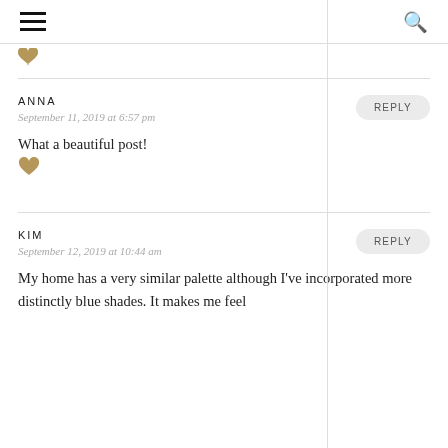≡  🔍
♥ (small heart icon, tan/gold color)
ANNA
September 11, 2019 at 6:57 pm
What a beautiful post! ♥
KIM
September 12, 2019 at 10:44 am
My home has a very similar palette although I've incorporated more distinctly blue shades. It makes me feel